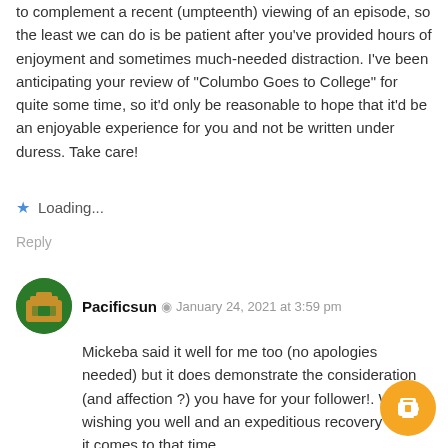to complement a recent (umpteenth) viewing of an episode, so the least we can do is be patient after you've provided hours of enjoyment and sometimes much-needed distraction. I've been anticipating your review of "Columbo Goes to College" for quite some time, so it'd only be reasonable to hope that it'd be an enjoyable experience for you and not be written under duress. Take care!
Loading...
Reply
Pacificsun · January 24, 2021 at 3:59 pm
Mickeba said it well for me too (no apologies needed) but it does demonstrate the consideration (and affection ?) you have for your follower!. We'll be wishing you well and an expeditious recovery when it comes to that time.
Maybe the Followers could think of some topics (and give their voices on it) for awhile in order to help carry the load!
For example: How did the Followers discover Columbo, what was the first episode they remember? And why did they become hooked?